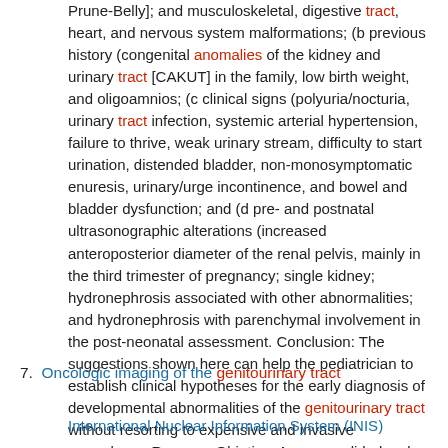Prune-Belly]; and musculoskeletal, digestive tract, heart, and nervous system malformations; (b previous history (congenital anomalies of the kidney and urinary tract [CAKUT] in the family, low birth weight, and oligoamnios; (c clinical signs (polyuria/nocturia, urinary tract infection, systemic arterial hypertension, failure to thrive, weak urinary stream, difficulty to start urination, distended bladder, non-monosymptomatic enuresis, urinary/urge incontinence, and bowel and bladder dysfunction; and (d pre- and postnatal ultrasonographic alterations (increased anteroposterior diameter of the renal pelvis, mainly in the third trimester of pregnancy; single kidney; hydronephrosis associated with other abnormalities; and hydronephrosis with parenchymal involvement in the post-neonatal assessment. Conclusion: The suggestions shown here can help the pediatrician to establish clinical hypotheses for the early diagnosis of developmental abnormalities of the genitourinary tract without resorting to expensive and invasive procedures. Resumo: Objetivo: As anormalidades do desenvolvimento do trato
7. Oncologic imaging of the genitourinary tract
International Nuclear Information System (INIS)